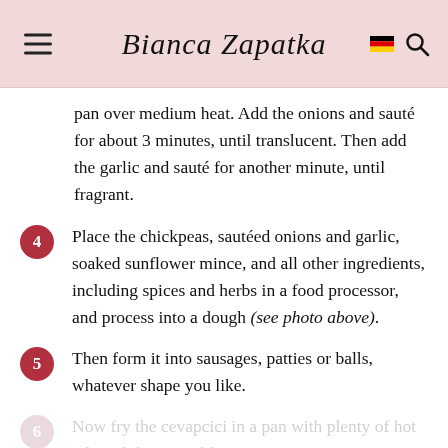Bianca Zapatka
pan over medium heat. Add the onions and sauté for about 3 minutes, until translucent. Then add the garlic and sauté for another minute, until fragrant.
4. Place the chickpeas, sautéed onions and garlic, soaked sunflower mince, and all other ingredients, including spices and herbs in a food processor, and process into a dough (see photo above).
5. Then form it into sausages, patties or balls, whatever shape you like.
6. Now fry the cevapcici in a pan with plenty of hot oil until they're golden